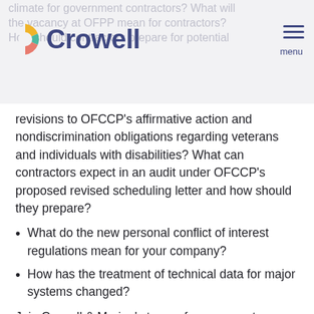climate for government contractors? What will the vacancy at OFPP mean for contractors? How should contractors prepare for potential
[Figure (logo): Crowell & Moring law firm logo with circular icon and wordmark 'Crowell']
revisions to OFCCP’s affirmative action and nondiscrimination obligations regarding veterans and individuals with disabilities? What can contractors expect in an audit under OFCCP’s proposed revised scheduling letter and how should they prepare?
What do the new personal conflict of interest regulations mean for your company?
How has the treatment of technical data for major systems changed?
Join Crowell & Moring’s team of government contracts attorneys for a special free webinar that examines the